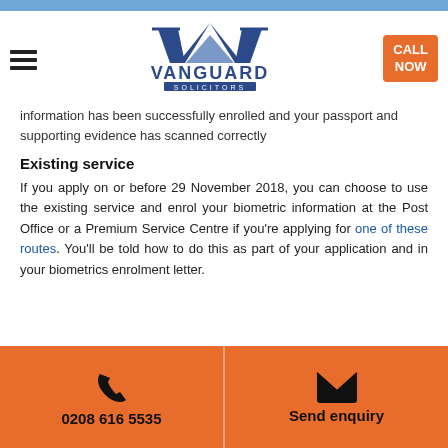[Figure (logo): Vanguard Solicitors logo with triangular graphic and text]
information has been successfully enrolled and your passport and supporting evidence has scanned correctly
Existing service
If you apply on or before 29 November 2018, you can choose to use the existing service and enrol your biometric information at the Post Office or a Premium Service Centre if you're applying for one of these routes. You'll be told how to do this as part of your application and in your biometrics enrolment letter.
0208 616 5535  Send enquiry